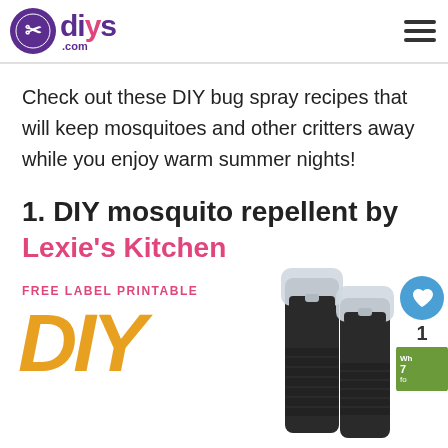diys.com
Check out these DIY bug spray recipes that will keep mosquitoes and other critters away while you enjoy warm summer nights!
1. DIY mosquito repellent by Lexie's Kitchen
[Figure (photo): Two black spray bottles with clear caps on white background with 'FREE LABEL PRINTABLE DIY' text overlay in pink and gold/yellow colors. Social interaction buttons (heart, share) visible on right side.]